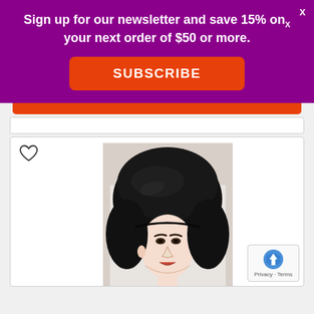Sign up for our newsletter and save 15% on your next order of $50 or more.
SUBSCRIBE
[Figure (photo): Product card showing a woman wearing a large black bouffant-style wig, with a heart/wishlist icon in the top left corner.]
Privacy · Terms